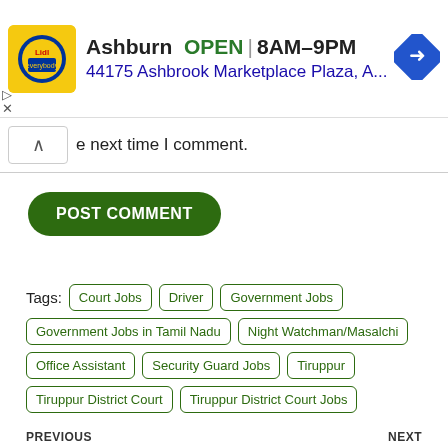[Figure (other): Advertisement banner for Lidl store in Ashburn showing OPEN 8AM-9PM and address 44175 Ashbrook Marketplace Plaza, A... with navigation arrow icon]
e next time I comment.
POST COMMENT
Tags: Court Jobs  Driver  Government Jobs  Government Jobs in Tamil Nadu  Night Watchman/Masalchi  Office Assistant  Security Guard Jobs  Tiruppur  Tiruppur District Court  Tiruppur District Court Jobs
PREVIOUS
Indian Air Force Tamilnadu IAF Airmen Group Y Non
NEXT
AIIMS Jodhpur Staff Nurse Grade 2 (Nursing Officer)